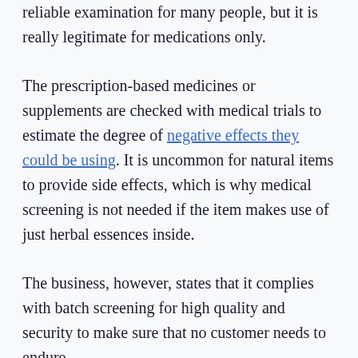reliable examination for many people, but it is really legitimate for medications only.
The prescription-based medicines or supplements are checked with medical trials to estimate the degree of negative effects they could be using. It is uncommon for natural items to provide side effects, which is why medical screening is not needed if the item makes use of just herbal essences inside.
The business, however, states that it complies with batch screening for high quality and security to make sure that no customer needs to endure.
Can you take Ikaria Lean Belly Juice with diet